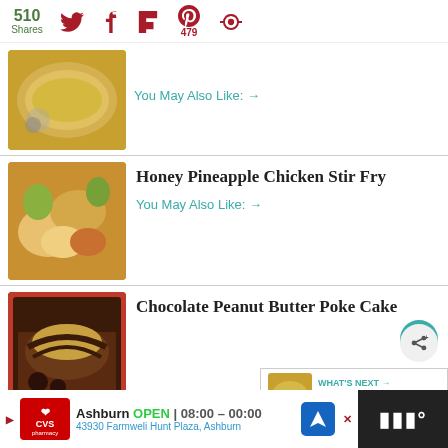510 Shares
[Figure (photo): Food photo - baked casserole dish with golden breadcrumb topping]
You May Also Like: →
Honey Pineapple Chicken Stir Fry
[Figure (photo): Food photo - honey pineapple chicken stir fry]
You May Also Like: →
Chocolate Peanut Butter Poke Cake
[Figure (photo): Food photo - chocolate peanut butter poke cake with drizzle]
WHAT'S NEXT → Broccoli Cheese...
Ashburn OPEN | 08:00 – 00:00 43930 Farmweli Hunt Plaza, Ashburn